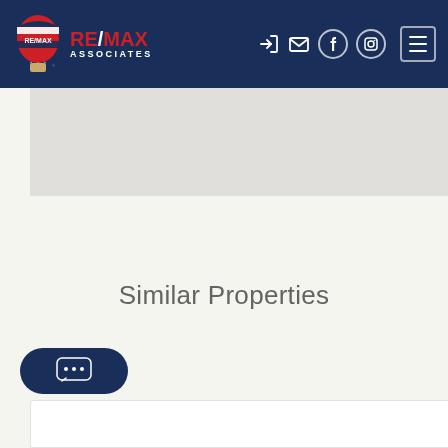RE/MAX ASSOCIATES navigation header with logo, social icons, and hamburger menu
[Figure (map): Light grey map area showing a geographic region]
Similar Properties
[Figure (other): Dark navy chat bubble button with ellipsis (…) chat icon]
[Figure (other): White card panel at bottom, partially visible]